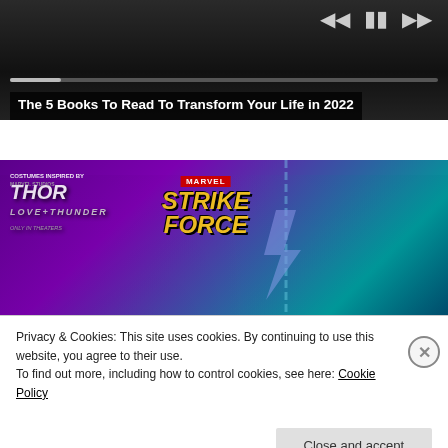[Figure (screenshot): Media player with dark background showing playback controls (skip back, pause, skip forward) and a progress bar. Title overlay reads 'The 5 Books To Read To Transform Your Life in 2022']
The 5 Books To Read To Transform Your Life in 2022
[Figure (screenshot): Marvel Strike Force advertisement banner featuring two female comic characters — Valkyrie with blue sword and Thor — against a purple/teal gradient background. Logo reads MARVEL STRIKE FORCE. Small text: 'Costumes inspired by Marvel Studios Thor Love and Thunder. Only in theaters.']
Privacy & Cookies: This site uses cookies. By continuing to use this website, you agree to their use.
To find out more, including how to control cookies, see here: Cookie Policy
Close and accept